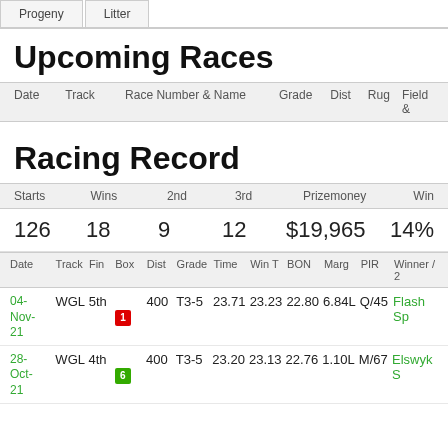Progeny | Litter
Upcoming Races
| Date | Track | Race Number & Name | Grade | Dist | Rug | Field & |
| --- | --- | --- | --- | --- | --- | --- |
Racing Record
| Starts | Wins | 2nd | 3rd | Prizemoney | Win% |
| --- | --- | --- | --- | --- | --- |
| 126 | 18 | 9 | 12 | $19,965 | 14% |
| Date | Track | Fin | Box | Dist | Grade | Time | Win T | BON | Marg | PIR | Winner / 2 |
| --- | --- | --- | --- | --- | --- | --- | --- | --- | --- | --- | --- |
| 04-Nov-21 | WGL | 5th | 1 | 400 | T3-5 | 23.71 | 23.23 | 22.80 | 6.84L | Q/45 | Flash Sp... |
| 28-Oct-21 | WGL | 4th | 6 | 400 | T3-5 | 23.20 | 23.13 | 22.76 | 1.10L | M/67 | Elswyk S... |